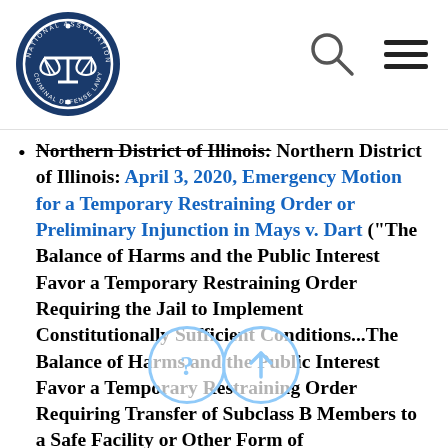National Association of Criminal Defense Lawyers logo with search and menu icons
Northern District of Illinois: April 3, 2020, Emergency Motion for a Temporary Restraining Order or Preliminary Injunction in Mays v. Dart ("The Balance of Harms and the Public Interest Favor a Temporary Restraining Order Requiring the Jail to Implement Constitutionally Sufficient Conditions...The Balance of Harms and the Public Interest Favor a Temporary Restraining Order Requiring Transfer of Subclass B Members to a Safe Facility or Other Form of Confinement.") (Courtesy of Civil Rights Corps) April 9, 2020, Memorandum and Order.
Northern District of Illinois: April 29, Emergency Motion for Consent...